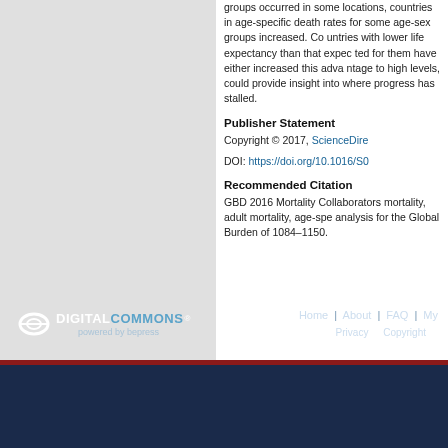groups occurred in some locations, countries in age-specific death rates for some age-sex groups increased. Countries with lower life expectancy than that expected for them have either increased this advantage to high levels, could provide insight into where progress has stalled.
Publisher Statement
Copyright © 2017, ScienceDirect
DOI: https://doi.org/10.1016/S0...
Recommended Citation
GBD 2016 Mortality Collaborators. mortality, adult mortality, age-specific analysis for the Global Burden of Disease 1084–1150.
DIGITAL COMMONS powered by bepress | Home | About | FAQ | My | Privacy | Copyright